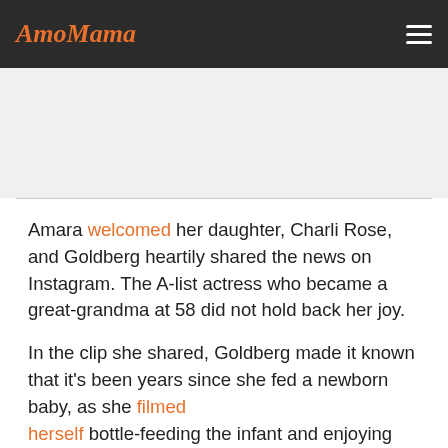AmoMama
[Figure (other): Advertisement/blank gray area]
Amara welcomed her daughter, Charli Rose, and Goldberg heartily shared the news on Instagram. The A-list actress who became a great-grandma at 58 did not hold back her joy.
In the clip she shared, Goldberg made it known that it's been years since she fed a newborn baby, as she filmed herself bottle-feeding the infant and enjoying some